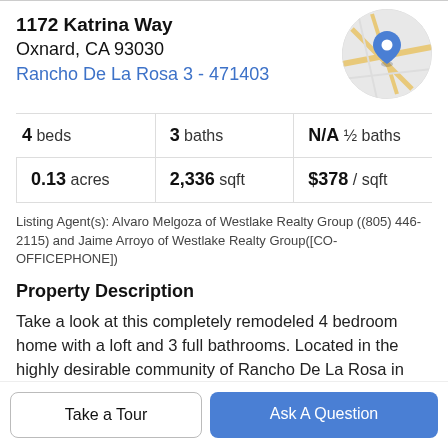1172 Katrina Way
Oxnard, CA 93030
Rancho De La Rosa 3 - 471403
[Figure (map): Circular map thumbnail showing street map with blue location pin marker]
4 beds | 3 baths | N/A ½ baths | 0.13 acres | 2,336 sqft | $378 / sqft
Listing Agent(s): Alvaro Melgoza of Westlake Realty Group ((805) 446-2115) and Jaime Arroyo of Westlake Realty Group([CO-OFFICEPHONE])
Property Description
Take a look at this completely remodeled 4 bedroom home with a loft and 3 full bathrooms. Located in the highly desirable community of Rancho De La Rosa in West